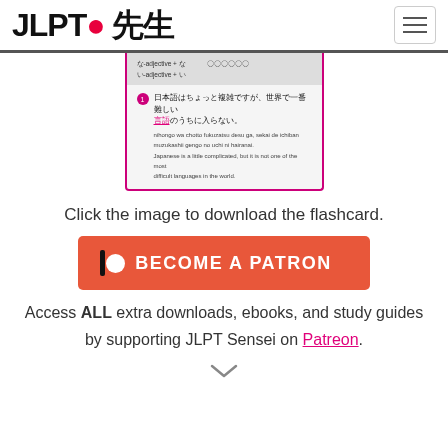JLPT 先生
[Figure (screenshot): A flashcard image showing Japanese grammar content with a pink border. The card shows a numbered example sentence in Japanese: 日本語はちょっと複雑ですが、世界で一番難しい言語のうちに入らない。with romaji and English translation below.]
Click the image to download the flashcard.
[Figure (infographic): Patreon button: orange/salmon colored button with Patreon logo (vertical bar and circle) and text BECOME A PATRON in white bold letters.]
Access ALL extra downloads, ebooks, and study guides by supporting JLPT Sensei on Patreon.